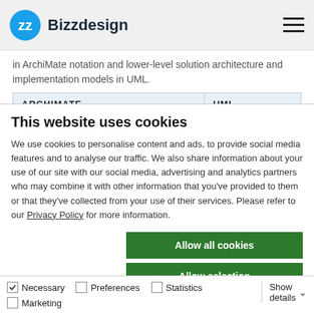Bizzdesign
in ArchiMate notation and lower-level solution architecture and implementation models in UML.
| ARCHIMATE | UML |
| --- | --- |
This website uses cookies
We use cookies to personalise content and ads, to provide social media features and to analyse our traffic. We also share information about your use of our site with our social media, advertising and analytics partners who may combine it with other information that you've provided to them or that they've collected from your use of their services. Please refer to our Privacy Policy for more information.
Allow all cookies
Allow selection
Use necessary cookies only
Necessary  Preferences  Statistics  Marketing  Show details